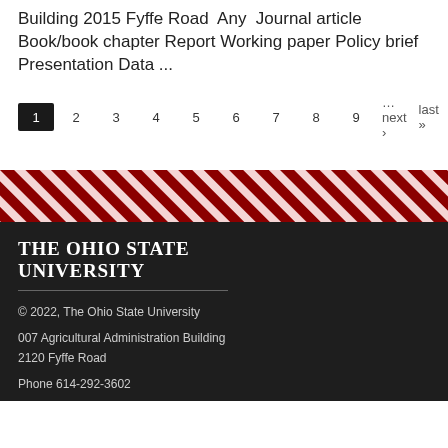Building 2015 Fyffe Road Any Journal article Book/book chapter Report Working paper Policy brief Presentation Data ...
1 2 3 4 5 6 7 8 9 …next › last »
[Figure (other): Diagonal red and white stripe banner divider]
THE OHIO STATE UNIVERSITY
© 2022, The Ohio State University
007 Agricultural Administration Building
2120 Fyffe Road
Phone 614-292-3602